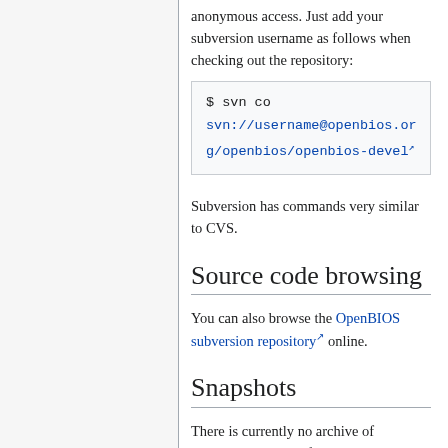anonymous access. Just add your subversion username as follows when checking out the repository:
$ svn co svn://username@openbios.org/openbios/openbios-devel
Subversion has commands very similar to CVS.
Source code browsing
You can also browse the OpenBIOS subversion repository online.
Snapshots
There is currently no archive of snapshots available for OpenBIOS. You can use the source code browser to